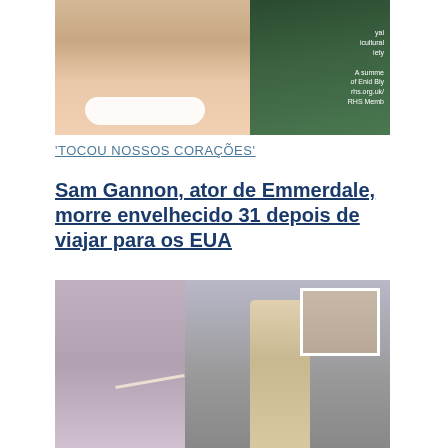[Figure (photo): Photo of a smiling man with short hair in front of a green background with a Royal Horticultural Society sign mentioning Enid Blyton and RHS membership]
'TOCOU NOSSOS CORAÇÕES'
Sam Gannon, ator de Emmerdale, morre envelhecido 31 depois de viajar para os EUA
[Figure (photo): Composite photo showing a young girl lying in a hospital bed with tubes, and a crowd of women outside a building including a blonde woman in grey; inset shows a close-up of the girl's face]